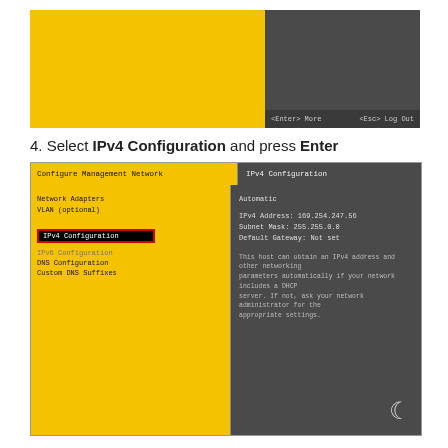[Figure (screenshot): Top portion of VMware DCUI screen showing yellow and gray panels with Enter/Esc navigation hints at bottom]
4. Select IPv4 Configuration and press Enter
[Figure (screenshot): VMware DCUI Configure Management Network screen with IPv4 Configuration highlighted. Left panel shows menu items: Network Adapters, VLAN (optional), IPv4 Configuration (selected/highlighted), IPv6 Configuration, DNS Configuration, Custom DNS Suffixes. Right panel shows: Automatic, IPv4 Address: 169.254.247.56, Subnet Mask: 255.255.0.0, Default Gateway: Not set, and descriptive text about DHCP.]